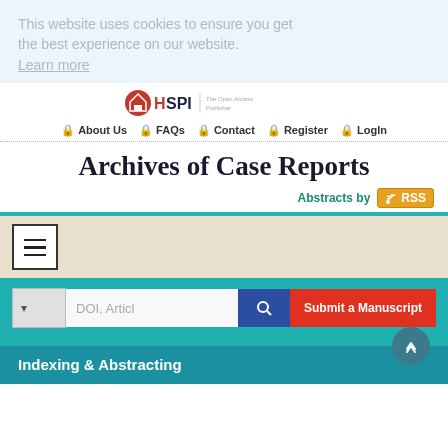This website uses cookies to ensure you get the best experience on our website. Learn more
[Figure (logo): HSPI - The Open Access Publisher logo with house icon]
About Us   FAQs   Contact   Register   LogIn
Archives of Case Reports
Abstracts by RSS
[Figure (other): Hamburger menu button in beige bar]
DOI, Articl   Submit a Manuscript
Indexing & Abstracting